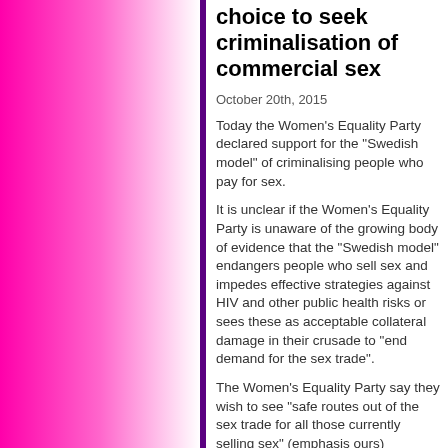choice to seek criminalisation of commercial sex
October 20th, 2015
Today the Women's Equality Party declared support for the “Swedish model” of criminalising people who pay for sex.
It is unclear if the Women’s Equality Party is unaware of the growing body of evidence that the “Swedish model” endangers people who sell sex and impedes effective strategies against HIV and other public health risks or sees these as acceptable collateral damage in their crusade to “end demand for the sex trade”.
The Women’s Equality Party say they wish to see “safe routes out of the sex trade for all those currently selling sex” (emphasis ours) indicating they support enforced exit